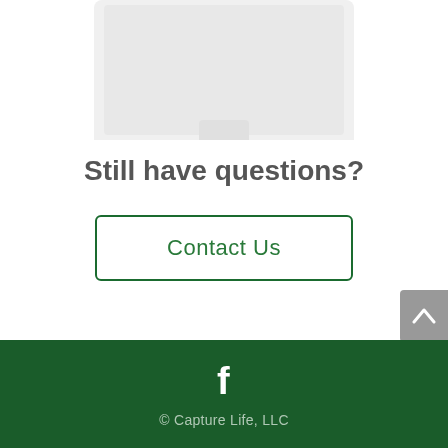[Figure (illustration): Partial view of a computer monitor/iMac silhouette in light gray at the top of the page]
Still have questions?
Contact Us
[Figure (illustration): Scroll-to-top button with upward chevron arrow on gray background in the right side]
© Capture Life, LLC